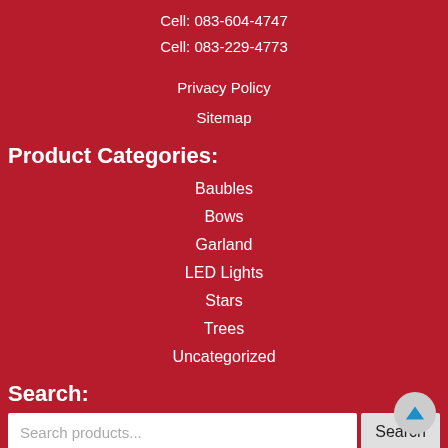Cell: 083-604-4747
Cell: 083-229-4773
Privacy Policy
Sitemap
Product Categories:
Baubles
Bows
Garland
LED Lights
Stars
Trees
Uncategorized
Search:
Search products...